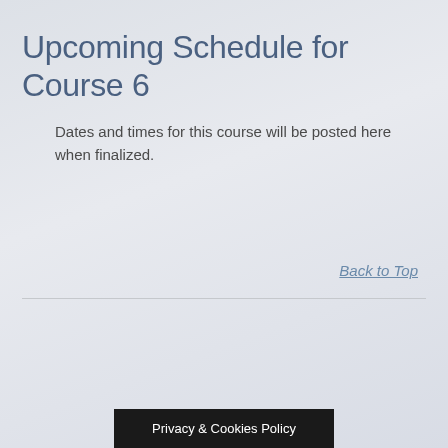Upcoming Schedule for Course 6
Dates and times for this course will be posted here when finalized.
Back to Top
Privacy & Cookies Policy